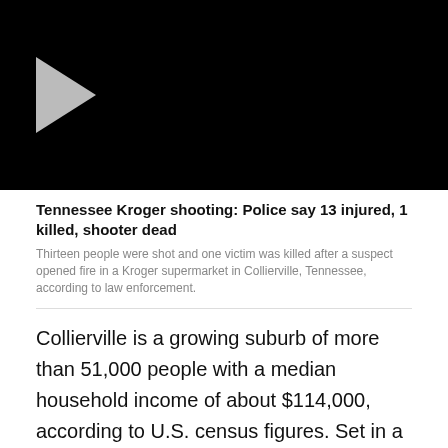[Figure (screenshot): Black video thumbnail with a gray play button triangle on the left side]
Tennessee Kroger shooting: Police say 13 injured, 1 killed, shooter dead
Thirteen people were shot and one victim was killed after a suspect opened fire in a Kroger supermarket in Collierville, Tennessee, according to law enforcement.
Collierville is a growing suburb of more than 51,000 people with a median household income of about $114,000, according to U.S. census figures. Set in a rural and historic area, the town square has largely become known for its boutiques and bed and breakfasts.
The Kroger Co., based in Cincinnati, Ohio, issued a statement that it was "deeply saddened" by the